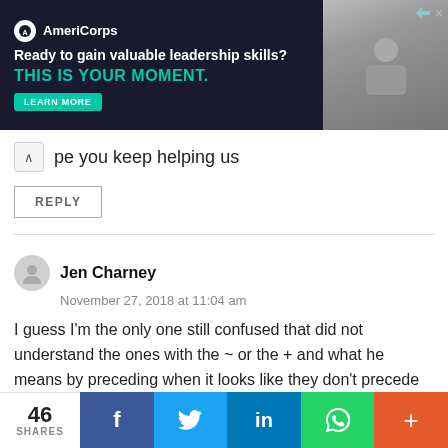[Figure (other): AmeriCorps advertisement banner: 'Ready to gain valuable leadership skills? THIS IS YOUR MOMENT.' with a LEARN MORE button and photo of people on the right.]
pe you keep helping us
REPLY
Jen Charney
November 27, 2018 at 11:04 am
I guess I'm the only one still confused that did not understand the ones with the ~ or the + and what he means by preceding when it looks like they don't precede the one selected. I will have to actually type this all up and see it for myself maybe to really get it.
46 SHARES